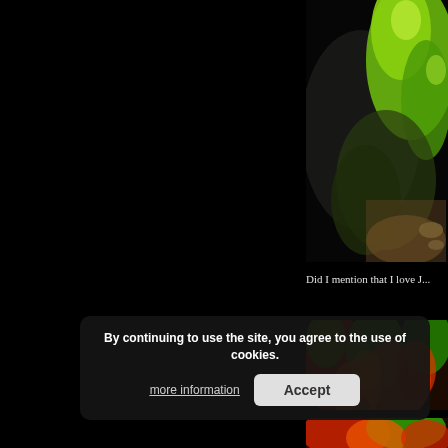[Figure (photo): Close-up photo of aquatic plant with bright green leaves and dark rocky substrate in an aquarium setting]
Did I mention that I love J...
[Figure (photo): Abstract close-up of aquatic plants showing red, orange, and green colors blurred together]
[Figure (photo): Continued view of colorful aquatic plants with red and green hues]
By continuing to use the site, you agree to the use of cookies. more information Accept